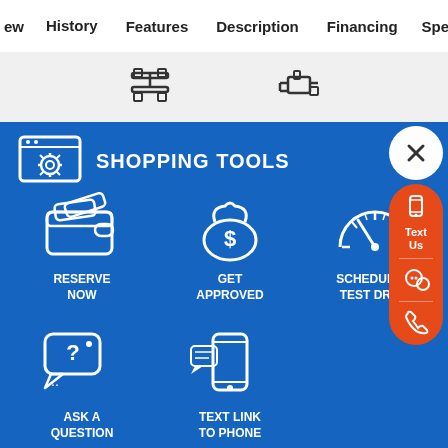ew  History  Features  Description  Financing  Specs
[Figure (screenshot): Navigation icons bar showing drivetrain and engine icons]
SHOPPING TOOLS
[Figure (infographic): Shopping tools grid with icons: Reserve Now, Get Approved, Schedule a Test Drive, Ask a Question, Text Link to Phone]
RESERVE NOW
GET APPROVED
SCHEDULE A TEST DRIVE
ASK A QUESTION
TEXT LINK TO PHONE